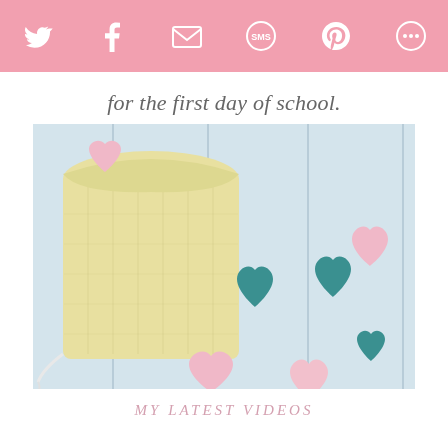Social sharing toolbar with Twitter, Facebook, Email, SMS, Pinterest, and More icons
for the first day of school.
[Figure (photo): A yellow linen drawstring bag with pink and teal felt hearts spilling out, photographed on a light blue wooden plank surface.]
MY LATEST VIDEOS